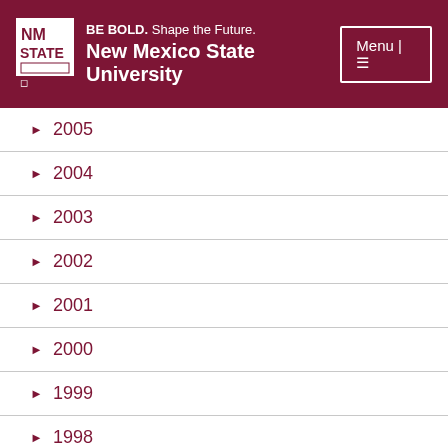BE BOLD. Shape the Future. New Mexico State University | Menu
▶ 2005
▶ 2004
▶ 2003
▶ 2002
▶ 2001
▶ 2000
▶ 1999
▶ 1998
▶ 1997
▶ 1996